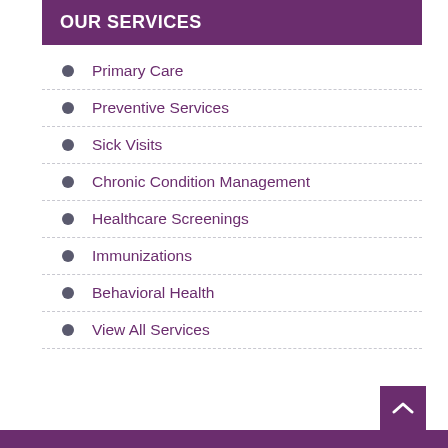OUR SERVICES
Primary Care
Preventive Services
Sick Visits
Chronic Condition Management
Healthcare Screenings
Immunizations
Behavioral Health
View All Services